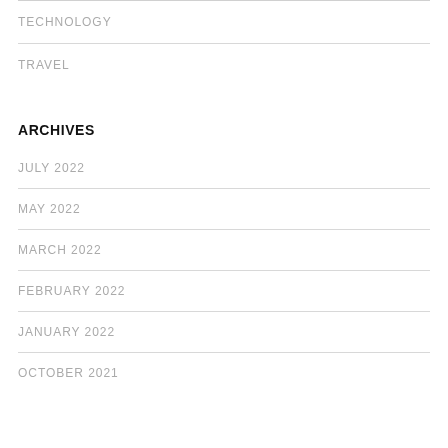TECHNOLOGY
TRAVEL
ARCHIVES
JULY 2022
MAY 2022
MARCH 2022
FEBRUARY 2022
JANUARY 2022
OCTOBER 2021